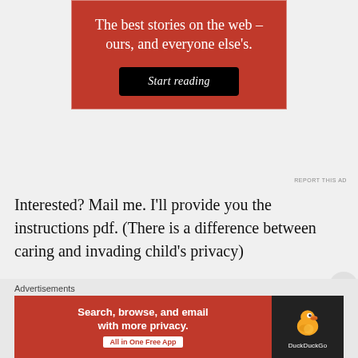[Figure (screenshot): Red advertisement banner with white text reading 'The best stories on the web – ours, and everyone else's.' and a black 'Start reading' button]
REPORT THIS AD
Interested? Mail me. I'll provide you the instructions pdf. (There is a difference between caring and invading child's privacy)
Remember~ PRIVACY theft is like a biological virus. You may think that it won't
Advertisements
[Figure (screenshot): DuckDuckGo advertisement banner: red section with white text 'Search, browse, and email with more privacy. All in One Free App' and dark section with DuckDuckGo duck logo]